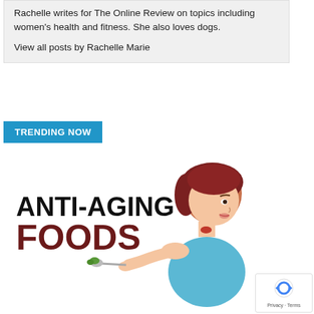Rachelle writes for The Online Review on topics including women's health and fitness. She also loves dogs.
View all posts by Rachelle Marie
TRENDING NOW
[Figure (illustration): Anti-aging foods illustration showing text 'ANTI-AGING FOODS' on the left with a cartoon woman eating from a spoon on the right]
[Figure (logo): reCAPTCHA privacy badge with Privacy - Terms text]